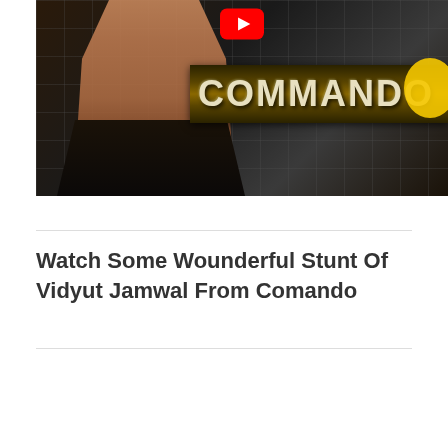[Figure (screenshot): YouTube video thumbnail showing a muscular shirtless man (Vidyut Jamwal) with a tiled dark background, the word COMMANDO on a gold banner, a YouTube play button icon at top center, and a yellow circular element on the right.]
Watch Some Wounderful Stunt Of Vidyut Jamwal From Comando